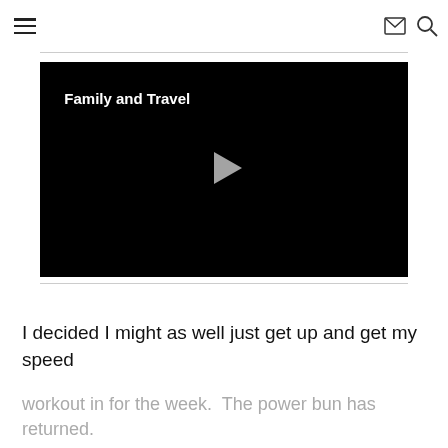hamburger menu | mail icon | search icon
[Figure (screenshot): A black video player thumbnail with white bold text 'Family and Travel' in the upper left and a grey play button triangle in the center]
I decided I might as well just get up and get my speed
workout in for the week.  The power bun has returned.